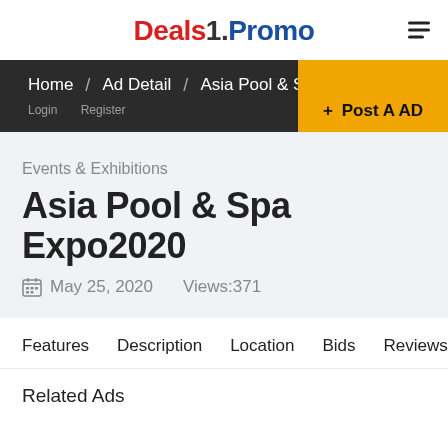Deals1.Promo
Home / Ad Detail / Asia Pool & S  + Post A AD
Events & Exhibitions
Asia Pool & Spa Expo2020
May 25, 2020   Views:371
Features   Description   Location   Bids   Reviews
Related Ads